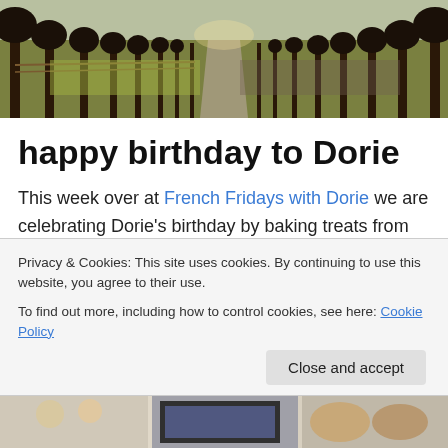[Figure (photo): Header photo of a tree-lined path or avenue, with bare winter trees on both sides receding into the distance, sunlit grass and a fence on the left, pathway on the right.]
happy birthday to Dorie
This week over at French Fridays with Dorie we are celebrating Dorie's birthday by baking treats from her soon to be released book, Baking Chez Moi. I chose to make the...
Privacy & Cookies: This site uses cookies. By continuing to use this website, you agree to their use.
To find out more, including how to control cookies, see here: Cookie Policy
[Close and accept]
[Figure (photo): Bottom strip showing partial images of food or baking items.]